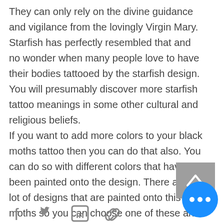They can only rely on the divine guidance and vigilance from the lovingly Virgin Mary. Starfish has perfectly resembled that and no wonder when many people love to have their bodies tattooed by the starfish design. You will presumably discover more starfish tattoo meanings in some other cultural and religious beliefs.
If you want to add more colors to your black moths tattoo then you can do that also. You can do so with different colors that have been painted onto the design. There are a lot of designs that are painted onto this moths so you can choose one of these and make your design even more unique.
[Figure (other): Back to top button - grey square with upward chevron arrow]
[Figure (other): Blue circular more options button with three horizontal dots]
[Figure (other): Social share icons: Facebook, Twitter, LinkedIn, and link/copy icon]